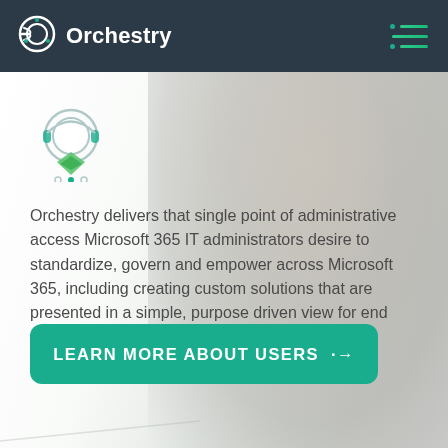Orchestry
[Figure (logo): Orchestry logo icon - circular reel/film-like icon in teal/white]
[Figure (illustration): Orchestry product icon - circular headset/agent icon with teal and green elements, arrow pointing down]
Orchestry delivers that single point of administrative access Microsoft 365 IT administrators desire to standardize, govern and empower across Microsoft 365, including creating custom solutions that are presented in a simple, purpose driven view for end users.
LEARN MORE ABOUT USERS →